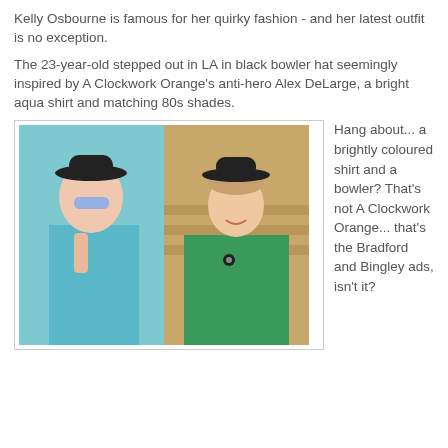Kelly Osbourne is famous for her quirky fashion - and her latest outfit is no exception.
The 23-year-old stepped out in LA in black bowler hat seemingly inspired by A Clockwork Orange's anti-hero Alex DeLarge, a bright aqua shirt and matching 80s shades.
[Figure (photo): Side-by-side comparison photo: left side shows Kelly Osbourne wearing a black bowler hat, aqua/teal short-sleeve dress, and blue goggle-style sunglasses; right side shows a woman in a green jacket and black bowler hat, resembling a Bradford and Bingley advertisement.]
Hang about... a brightly coloured shirt and a bowler? That's not A Clockwork Orange... that's the Bradford and Bingley ads, isn't it?